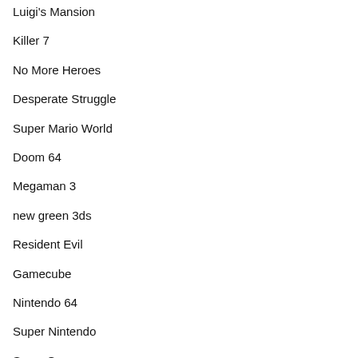Luigi's Mansion
Killer 7
No More Heroes
Desperate Struggle
Super Mario World
Doom 64
Megaman 3
new green 3ds
Resident Evil
Gamecube
Nintendo 64
Super Nintendo
Scary Games
Ghost Stories
Resident Evil 4
Nintendo Switch